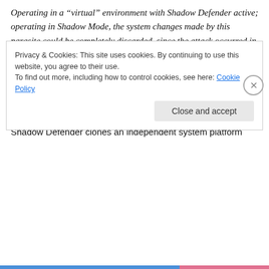Operating in a “virtual” environment with Shadow Defender active; operating in Shadow Mode, the system changes made by this parasite could be completely discarded, since the attack occurred in the, “I’m not really here” environment .
A system reboot would restore the system to the original state, as if the attack had not occurred.
So what’s Shadow Mode?
Shadow Defender clones an independent system platform
Privacy & Cookies: This site uses cookies. By continuing to use this website, you agree to their use.
To find out more, including how to control cookies, see here: Cookie Policy
Close and accept